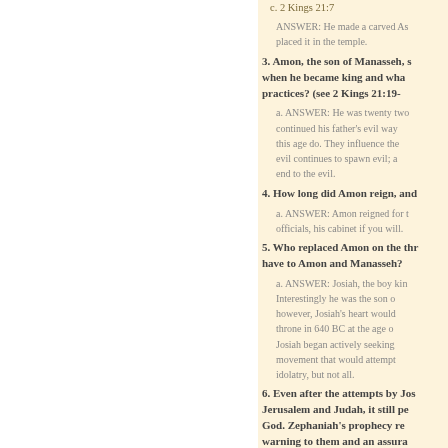c. 2 Kings 21:7
ANSWER: He made a carved As... placed it in the temple.
3. Amon, the son of Manasseh, s... when he became king and wha... practices? (see 2 Kings 21:19-...
a. ANSWER: He was twenty two... continued his father's evil way... this age do. They influence the... evil continues to spawn evil; a... end to the evil.
4. How long did Amon reign, and ...
a. ANSWER: Amon reigned for t... officials, his cabinet if you will.
5. Who replaced Amon on the thr... have to Amon and Manasseh?
a. ANSWER: Josiah, the boy kin... Interestingly he was the son o... however, Josiah's heart would... throne in 640 BC at the age o... Josiah began actively seeking... movement that would attempt... idolatry, but not all.
6. Even after the attempts by Jos... Jerusalem and Judah, it still pe... God. Zephaniah's prophecy re... warning to them and an assura...